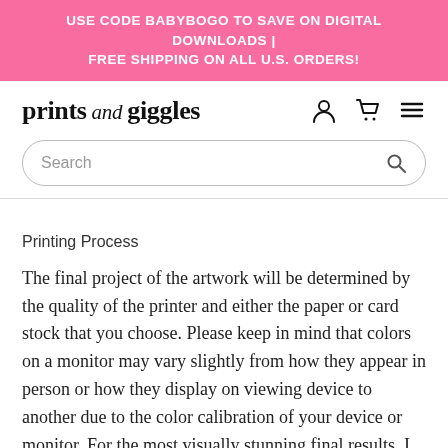USE CODE BABYBOGO TO SAVE ON DIGITAL DOWNLOADS | FREE SHIPPING ON ALL U.S. ORDERS!
prints and giggles
Printing Process
The final project of the artwork will be determined by the quality of the printer and either the paper or card stock that you choose. Please keep in mind that colors on a monitor may vary slightly from how they appear in person or how they display on viewing device to another due to the color calibration of your device or monitor. For the most visually stunning final results, I recommend printing the pages using high-quality paper, using a matte or luster